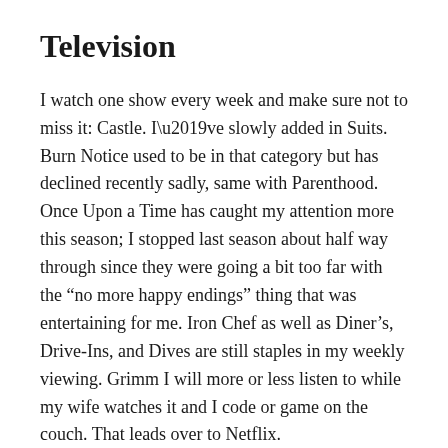Television
I watch one show every week and make sure not to miss it: Castle. I’ve slowly added in Suits. Burn Notice used to be in that category but has declined recently sadly, same with Parenthood. Once Upon a Time has caught my attention more this season; I stopped last season about half way through since they were going a bit too far with the “no more happy endings” thing that was entertaining for me. Iron Chef as well as Diner’s, Drive-Ins, and Dives are still staples in my weekly viewing. Grimm I will more or less listen to while my wife watches it and I code or game on the couch. That leads over to Netflix.
When I need something to just be on, or want to relax with some sic-fi I go to my Netflix queue. I’ve